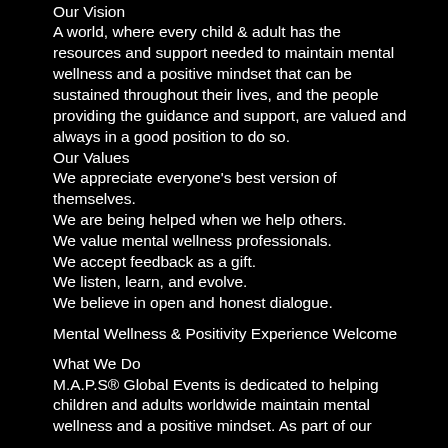Our Vision
A world, where every child & adult has the resources and support needed to maintain mental wellness and a positive mindset that can be sustained throughout their lives, and the people providing the guidance and support, are valued and always in a good position to do so.
Our Values
We appreciate everyone's best version of themselves.
We are being helped when we help others.
We value mental wellness professionals.
We accept feedback as a gift.
We listen, learn, and evolve.
We believe in open and honest dialogue.
Mental Wellness & Positivity Experience Welcome
What We Do
M.A.P.S® Global Events is dedicated to helping children and adults worldwide maintain mental wellness and a positive mindset. As part of our